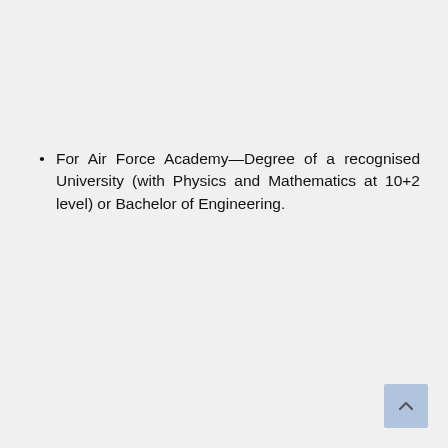For Air Force Academy—Degree of a recognised University (with Physics and Mathematics at 10+2 level) or Bachelor of Engineering.